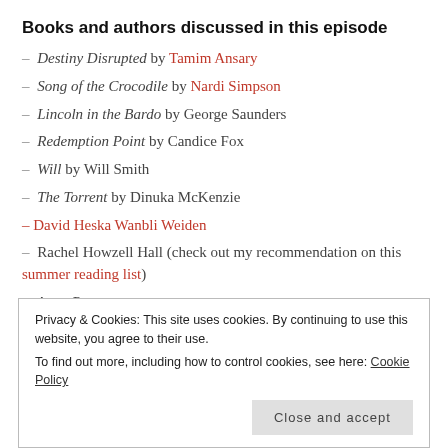Books and authors discussed in this episode
– Destiny Disrupted by Tamim Ansary
– Song of the Crocodile by Nardi Simpson
– Lincoln in the Bardo by George Saunders
– Redemption Point by Candice Fox
– Will by Will Smith
– The Torrent by Dinuka McKenzie
– David Heska Wanbli Weiden
– Rachel Howzell Hall (check out my recommendation on this summer reading list)
– Anne Perry
Privacy & Cookies: This site uses cookies. By continuing to use this website, you agree to their use. To find out more, including how to control cookies, see here: Cookie Policy
Close and accept